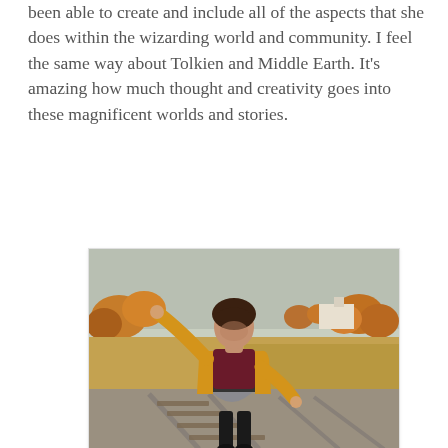been able to create and include all of the aspects that she does within the wizarding world and community. I feel the same way about Tolkien and Middle Earth. It's amazing how much thought and creativity goes into these magnificent worlds and stories.
[Figure (photo): A young woman with brown hair and bangs wearing a yellow cardigan over a dark burgundy top and a gray skater skirt with black tights, standing on railroad tracks in an autumn landscape with colorful foliage in the background, one arm raised and the other lowered.]